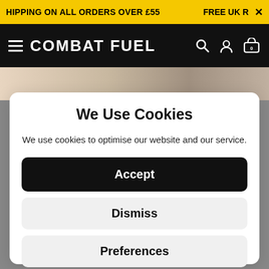HIPPING ON ALL ORDERS OVER £55   FREE UK R  ×
COMBAT FUEL
We Use Cookies
We use cookies to optimise our website and our service.
Accept
Dismiss
Preferences
Cookie Policy  Privacy Policy